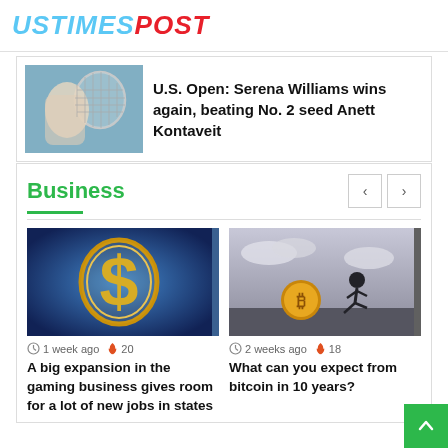USTIMESPOST
[Figure (photo): Tennis player (Serena Williams) holding racket, action photo]
U.S. Open: Serena Williams wins again, beating No. 2 seed Anett Kontaveit
Business
[Figure (photo): Gold dollar sign on blue background, business/money concept image]
1 week ago  20
A big expansion in the gaming business gives room for a lot of new jobs in states
[Figure (photo): Black and white image of person running toward a large bitcoin coin]
2 weeks ago  18
What can you expect from bitcoin in 10 years?